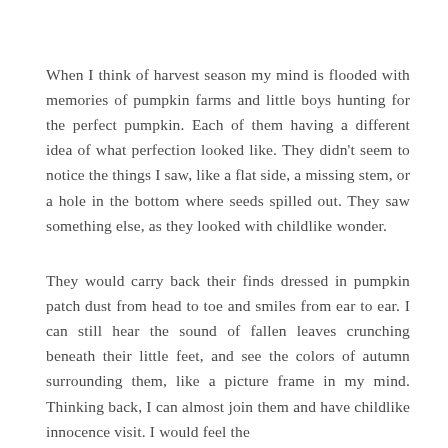When I think of harvest season my mind is flooded with memories of pumpkin farms and little boys hunting for the perfect pumpkin. Each of them having a different idea of what perfection looked like. They didn't seem to notice the things I saw, like a flat side, a missing stem, or a hole in the bottom where seeds spilled out. They saw something else, as they looked with childlike wonder.
They would carry back their finds dressed in pumpkin patch dust from head to toe and smiles from ear to ear. I can still hear the sound of fallen leaves crunching beneath their little feet, and see the colors of autumn surrounding them, like a picture frame in my mind. Thinking back, I can almost join them and have childlike innocence visit. I would feel the